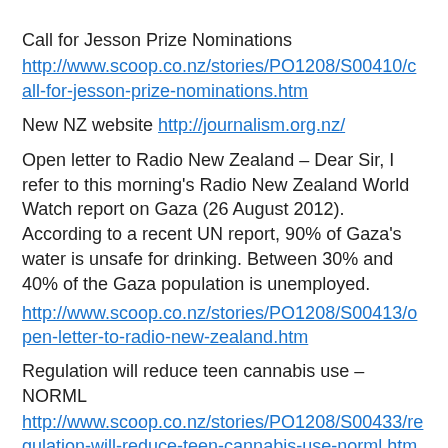Call for Jesson Prize Nominations
http://www.scoop.co.nz/stories/PO1208/S00410/call-for-jesson-prize-nominations.htm
New NZ website http://journalism.org.nz/
Open letter to Radio New Zealand – Dear Sir, I refer to this morning's Radio New Zealand World Watch report on Gaza (26 August 2012). According to a recent UN report, 90% of Gaza's water is unsafe for drinking. Between 30% and 40% of the Gaza population is unemployed.
http://www.scoop.co.nz/stories/PO1208/S00413/open-letter-to-radio-new-zealand.htm
Regulation will reduce teen cannabis use – NORML
http://www.scoop.co.nz/stories/PO1208/S00433/regulation-will-reduce-teen-cannabis-use-norml.htm